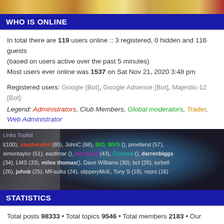[Figure (photo): Top banner image with colorful overlapping cards/photos]
WHO IS ONLINE
In total there are 119 users online :: 3 registered, 0 hidden and 116 guests (based on users active over the past 5 minutes)
Most users ever online was 1537 on Sat Nov 21, 2020 3:48 pm
Registered users: Google [Bot], Google Adsense [Bot], Majestic-12 [Bot]
Legend: Administrators, Club Members, Global moderators, Trader, Web Administrator
[Figure (photo): Forum toplist banner with a blue car and overlaid text listing top users by post count]
STATISTICS
Total posts 98333 • Total topics 9546 • Total members 2183 • Our newest member Pedr0
LOGIN